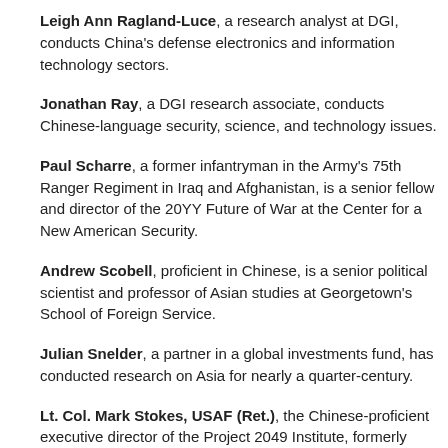Leigh Ann Ragland-Luce, a research analyst at DGI, conducts China's defense electronics and information technology sectors.
Jonathan Ray, a DGI research associate, conducts Chinese-language security, science, and technology issues.
Paul Scharre, a former infantryman in the Army's 75th Ranger Regiment in Iraq and Afghanistan, is a senior fellow and director of the 20YY Future of War at the Center for a New American Security.
Andrew Scobell, proficient in Chinese, is a senior political scientist and professor of Asian studies at Georgetown's School of Foreign Service.
Julian Snelder, a partner in a global investments fund, has conducted research on Asia for nearly a quarter-century.
Lt. Col. Mark Stokes, USAF (Ret.), the Chinese-proficient executive director of the Project 2049 Institute, formerly served as assistant air attaché at U.S. Embassy Beijing.
Audrye Wong, fluent in Chinese, is a Ph.D. student in Security Studies at Princeton's Wilson School of Public and International Affairs.